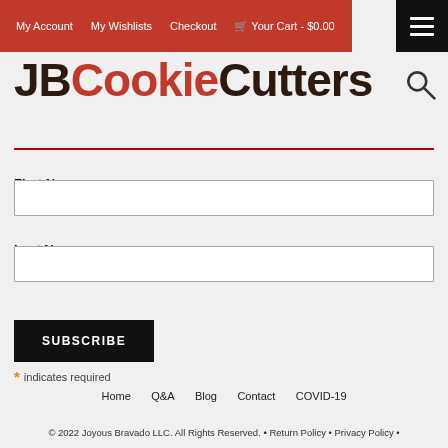My Account  My Wishlists  Checkout  🛒 Your Cart - $0.00
[Figure (logo): JBCookieCutters logo in dark brown and red lettering]
First Name
Last Name
SUBSCRIBE
* indicates required
Home  Q&A  Blog  Contact  COVID-19
© 2022 Joyous Bravado LLC. All Rights Reserved. • Return Policy • Privacy Policy •